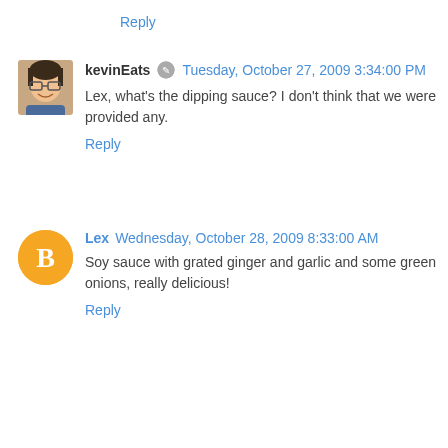Reply
kevinEats  Tuesday, October 27, 2009 3:34:00 PM
Lex, what's the dipping sauce? I don't think that we were provided any.
Reply
Lex  Wednesday, October 28, 2009 8:33:00 AM
Soy sauce with grated ginger and garlic and some green onions, really delicious!
Reply